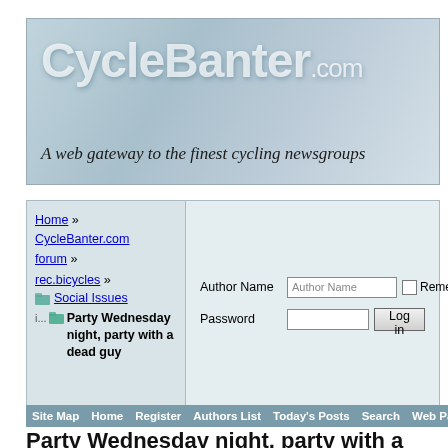[Figure (screenshot): CycleBanter.com banner with logo and tagline 'A web gateway to the finest cycling newsgroups', with a cyclist image background]
Home » CycleBanter.com forum »
rec.bicycles »
Social Issues
Party Wednesday night, party with a dead guy
Author Name [Author Name input] Remember Me? Password [input] [Log in button]
Site Map   Home   Register   Authors List   Today's Posts   Search   Web Partner
Party Wednesday night, party with a dead guy